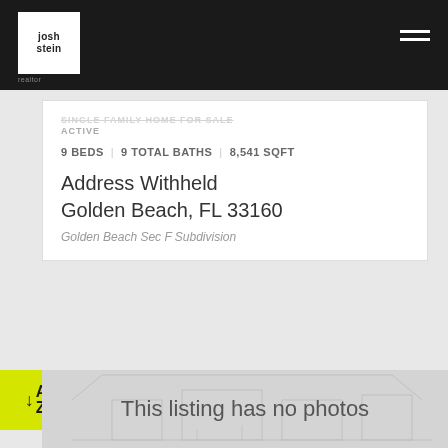josh stein realtor
SINGLE FAMILY HOME FOR SALE
ACTIVE
9 BEDS | 9 TOTAL BATHS | 8,541 SQFT
Address Withheld
Golden Beach, FL 33160
Golden Beach Sec F Subdivision
[Figure (other): Sort A-Z button with yellow background and down arrow]
[Figure (other): Placeholder image showing 'This listing has no photos' with faint architectural line drawing background]